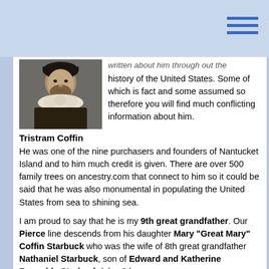[Figure (photo): Black and white portrait of Tristram Coffin, a historical figure shown in period clothing with a ruffled collar.]
Tristram Coffin
written about him through out the history of the United States. Some of which is fact and some assumed so therefore you will find much conflicting information about him.
He was one of the nine purchasers and founders of Nantucket Island and to him much credit is given. There are over 500 family trees on ancestry.com that connect to him so it could be said that he was also monumental in populating the United States from sea to shining sea.
I am proud to say that he is my 9th great grandfather. Our Pierce line descends from his daughter Mary "Great Mary" Coffin Starbuck who was the wife of 8th great grandfather Nathaniel Starbuck, son of Edward and Katherine Reynolds Starbuck (also 9th